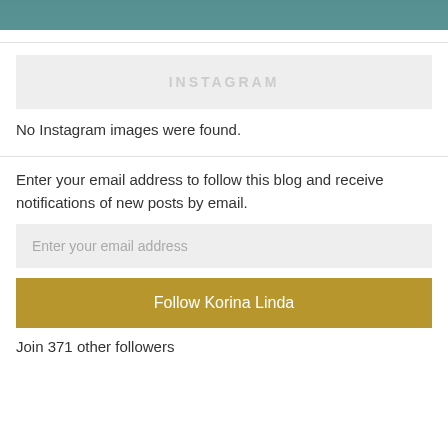[Figure (photo): Partial photo strip at top of page showing a person in teal/dark clothing]
INSTAGRAM
No Instagram images were found.
Enter your email address to follow this blog and receive notifications of new posts by email.
Enter your email address
Follow Korina Linda
Join 371 other followers